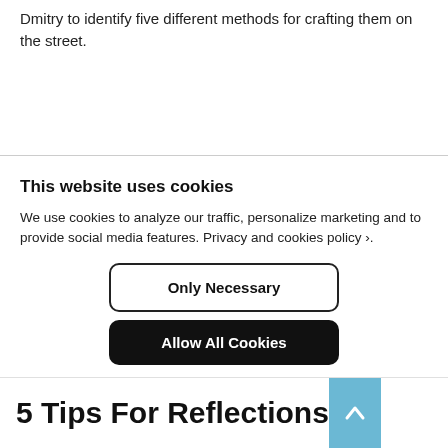Dmitry to identify five different methods for crafting them on the street.
This website uses cookies
We use cookies to analyze our traffic, personalize marketing and to provide social media features. Privacy and cookies policy ›.
Only Necessary
Allow All Cookies
Configure Settings ›
5 Tips For Reflections